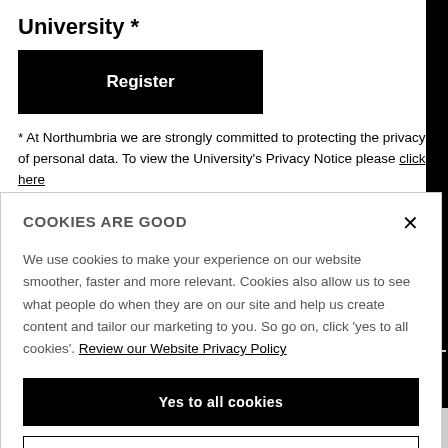University *
[Figure (other): Black Register button]
* At Northumbria we are strongly committed to protecting the privacy of personal data. To view the University's Privacy Notice please click here
COOKIES ARE GOOD
We use cookies to make your experience on our website smoother, faster and more relevant. Cookies also allow us to see what people do when they are on our site and help us create content and tailor our marketing to you. So go on, click 'yes to all cookies'. Review our Website Privacy Policy
[Figure (other): Yes to all cookies button (black)]
[Figure (other): Let me choose button (white with border)]